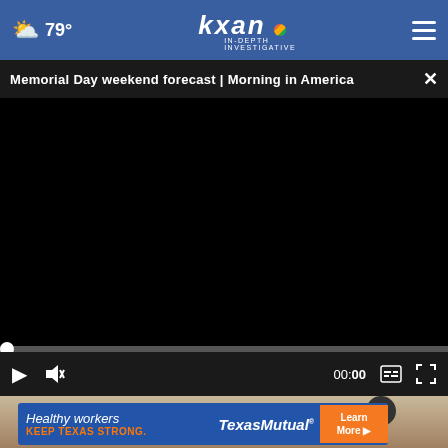☁ 79° | KXAN IN-DEPTH INVESTIGATIVE
Memorial Day weekend forecast | Morning in America ×
[Figure (screenshot): Black video player area showing a paused video with progress bar at start, controls showing play button, mute icon, time 00:00, caption icon, and fullscreen icon]
[Figure (photo): Partial view of a person's face looking upward, below the video player]
Healthy workers KEEP TEXAS STRONG. Texas Mutual Learn More